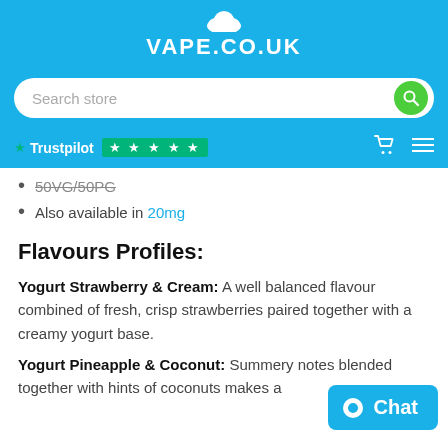VAPE.CO.UK
50VG/50PG
Also available in 20mg
Flavours Profiles:
Yogurt Strawberry & Cream: A well balanced flavour combined of fresh, crisp strawberries paired together with a creamy yogurt base.
Yogurt Pineapple & Coconut: Summery notes blended together with hints of coconuts makes a